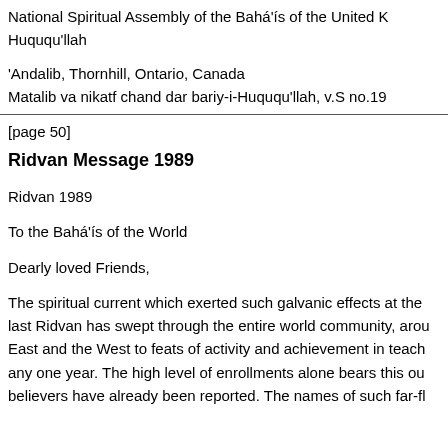National Spiritual Assembly of the Bahá'ís of the United K
Huququ'llah
'Andalib, Thornhill, Ontario, Canada
Matalib va nikatf chand dar bariy-i-Huququ'llah, v.S no.19
[page 50]
Ridvan Message 1989
Ridvan 1989
To the Bahá'ís of the World
Dearly loved Friends,
The spiritual current which exerted such galvanic effects at the last Ridvan has swept through the entire world community, arou East and the West to feats of activity and achievement in teach any one year. The high level of enrollments alone bears this ou believers have already been reported. The names of such far-fl